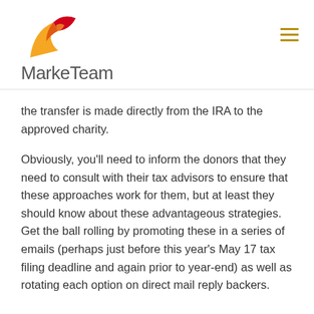MarkeTeam
the transfer is made directly from the IRA to the approved charity.
Obviously, you'll need to inform the donors that they need to consult with their tax advisors to ensure that these approaches work for them, but at least they should know about these advantageous strategies. Get the ball rolling by promoting these in a series of emails (perhaps just before this year's May 17 tax filing deadline and again prior to year-end) as well as rotating each option on direct mail reply backers.